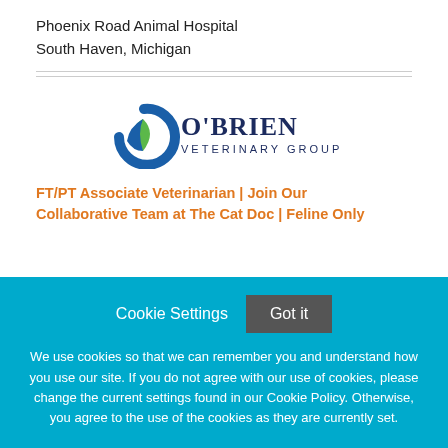Phoenix Road Animal Hospital
South Haven, Michigan
[Figure (logo): O'Brien Veterinary Group logo — circular blue and green swoosh icon to the left, text 'O'BRIEN' in large dark blue serif font, 'VETERINARY GROUP' below in smaller dark blue text]
FT/PT Associate Veterinarian | Join Our Collaborative Team at The Cat Doc | Feline Only
Cookie Settings  Got it
We use cookies so that we can remember you and understand how you use our site. If you do not agree with our use of cookies, please change the current settings found in our Cookie Policy. Otherwise, you agree to the use of the cookies as they are currently set.